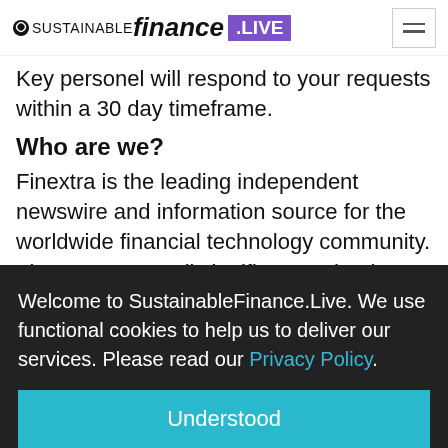Sustainable Finance .LIVE
Key personel will respond to your requests within a 30 day timeframe.
Who are we?
Finextra is the leading independent newswire and information source for the worldwide financial technology community. Finextra covers all significant technology
Welcome to SustainableFinance.Live. We use functional cookies to help us to deliver our services. Please read our Privacy Policy.
Understood